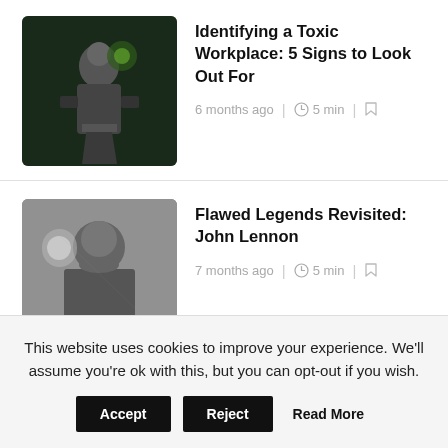[Figure (photo): Thumbnail image for article about toxic workplace, dark green background with a person sitting]
Identifying a Toxic Workplace: 5 Signs to Look Out For
6 months ago | 5 min |
[Figure (photo): Black and white thumbnail photo of John Lennon]
Flawed Legends Revisited: John Lennon
7 months ago | 5 min |
[Figure (photo): Thumbnail photo of Dave Chappelle holding a microphone]
Netflix's Support of Dave Chappelle Is Disturbing. Here's Why
10 months ago | 4 min |
This website uses cookies to improve your experience. We'll assume you're ok with this, but you can opt-out if you wish.